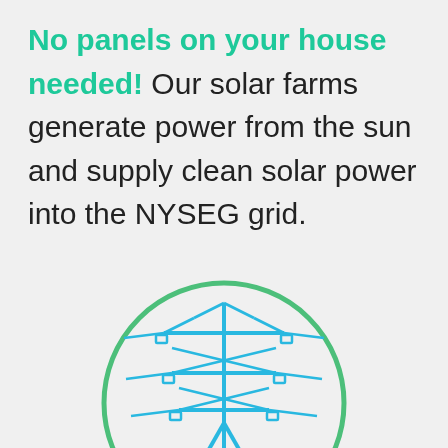No panels on your house needed! Our solar farms generate power from the sun and supply clean solar power into the NYSEG grid.
[Figure (illustration): A circular green outline globe/grid icon with a blue electric transmission tower/pylon in the center, representing solar power supplied into the NYSEG grid.]